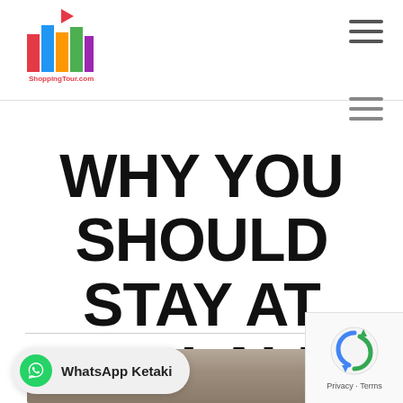[Figure (logo): Delhi ShoppingTour.com colorful city logo with text]
WHY YOU SHOULD STAY AT THE LALIT, NEW DELHI
[Figure (photo): Bottom partial image of The Lalit hotel, New Delhi]
WhatsApp Ketaki